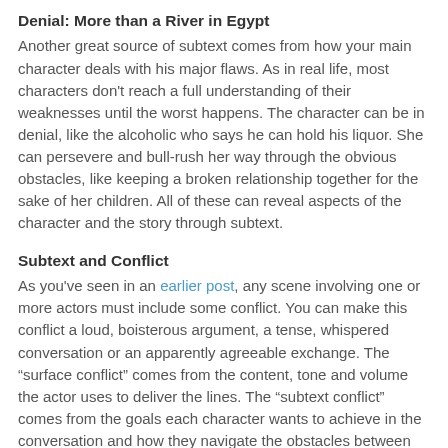Denial: More than a River in Egypt
Another great source of subtext comes from how your main character deals with his major flaws. As in real life, most characters don't reach a full understanding of their weaknesses until the worst happens. The character can be in denial, like the alcoholic who says he can hold his liquor. She can persevere and bull-rush her way through the obvious obstacles, like keeping a broken relationship together for the sake of her children. All of these can reveal aspects of the character and the story through subtext.
Subtext and Conflict
As you've seen in an earlier post, any scene involving one or more actors must include some conflict. You can make this conflict a loud, boisterous argument, a tense, whispered conversation or an apparently agreeable exchange. The “surface conflict” comes from the content, tone and volume the actor uses to deliver the lines. The “subtext conflict” comes from the goals each character wants to achieve in the conversation and how they navigate the obstacles between them and that goal.